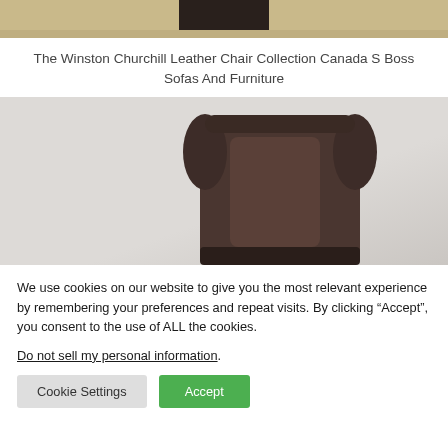[Figure (photo): Top portion of a leather chair or sofa on a wooden surface, dark brown upholstery visible at top]
The Winston Churchill Leather Chair Collection Canada S Boss Sofas And Furniture
[Figure (photo): Close-up of a dark brown leather wingback chair against a light grey background, showing the seat back and armrests]
We use cookies on our website to give you the most relevant experience by remembering your preferences and repeat visits. By clicking “Accept”, you consent to the use of ALL the cookies.
Do not sell my personal information.
Cookie Settings
Accept